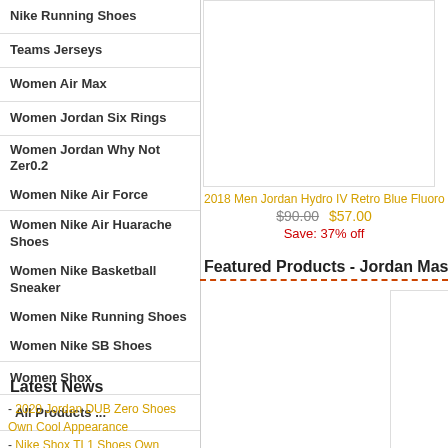Nike Running Shoes
Teams Jerseys
Women Air Max
Women Jordan Six Rings
Women Jordan Why Not Zer0.2
Women Nike Air Force
Women Nike Air Huarache Shoes
Women Nike Basketball Sneaker
Women Nike Running Shoes
Women Nike SB Shoes
Women Shox
All Products ...
Latest News
- 2020 Jordan DUB Zero Shoes Own Cool Appearance
- Nike Shox TL1 Shoes Own Great Cushion And Padding
- Women Nike Shox TL1 Shoes Are Good Choice For Doing Gym
[Figure (photo): Product image for 2018 Men Jordan Hydro IV Retro Blue Fluoro]
2018 Men Jordan Hydro IV Retro Blue Fluoro
$90.00  $57.00
Save: 37% off
Featured Products - Jordan Massa
[Figure (photo): Featured product image partial view]